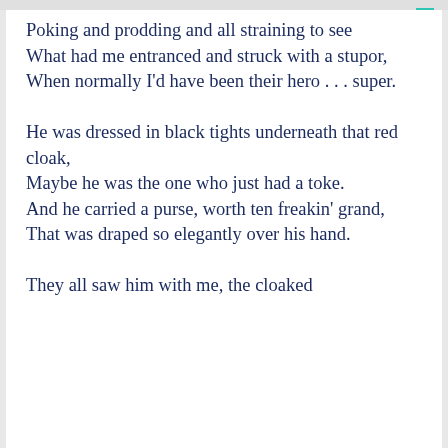Poking and prodding and all straining to see
What had me entranced and struck with a stupor,
When normally I'd have been their hero . . . super.

He was dressed in black tights underneath that red cloak,
Maybe he was the one who just had a toke.
And he carried a purse, worth ten freakin' grand,
That was draped so elegantly over his hand.

They all saw him with me, the cloaked